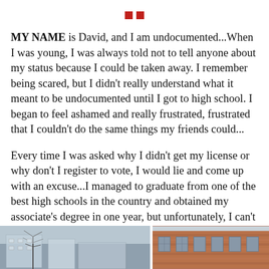■ ■
MY NAME is David, and I am undocumented...When I was young, I was always told not to tell anyone about my status because I could be taken away. I remember being scared, but I didn't really understand what it meant to be undocumented until I got to high school. I began to feel ashamed and really frustrated, frustrated that I couldn't do the same things my friends could...
Every time I was asked why I didn't get my license or why don't I register to vote, I would lie and come up with an excuse...I managed to graduate from one of the best high schools in the country and obtained my associate's degree in one year, but unfortunately, I can't continue my education because it's become too expensive.
[Figure (photo): Two photographs of buildings: left shows a bare-tree campus scene, right shows a brick building exterior.]